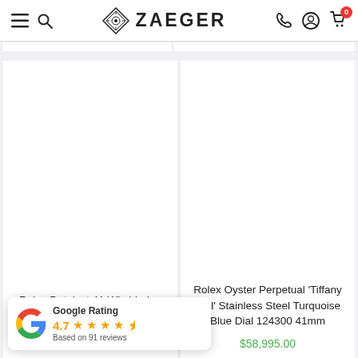ZAEGER — navigation header with menu, search, phone, account, and cart icons
[Figure (screenshot): Rolex Datejust 41 Wimbledon Dial Two — product image placeholder (white)]
Rolex Datejust 41 Wimbledon Dial Two
[Figure (screenshot): Rolex Oyster Perpetual Tiffany Dial product image placeholder (white)]
Rolex Oyster Perpetual 'Tiffany Dial' Stainless Steel Turquoise Blue Dial 124300 41mm
$58,995.00
Google Rating
4.7
Based on 91 reviews